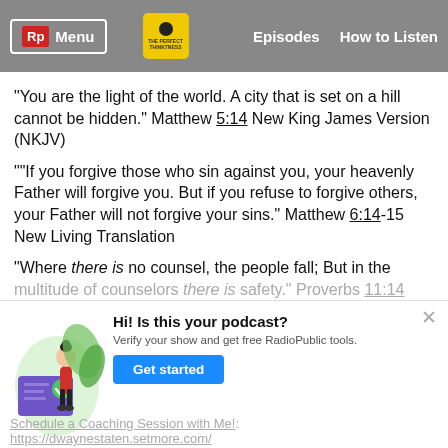Rp Menu | Episodes | How to Listen
"You are the light of the world. A city that is set on a hill cannot be hidden." Matthew 5:14 New King James Version (NKJV)
""If you forgive those who sin against you, your heavenly Father will forgive you. But if you refuse to forgive others, your Father will not forgive your sins." Matthew 6:14-15 New Living Translation
"Where there is no counsel, the people fall; But in the multitude of counselors there is safety." Proverbs 11:14 NKJV
[Figure (illustration): Person standing next to a document with a checkmark, with green leaves in background — podcast verification illustration]
Hi! Is this your podcast?
Verify your show and get free RadioPublic tools.
Get started
Schedule a Coaching Session with Me!:
https://dwaynestaten.setmore.com/